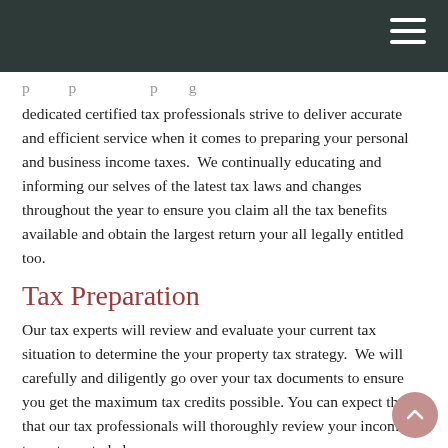dedicated certified tax professionals strive to deliver accurate and efficient service when it comes to preparing your personal and business income taxes.  We continually educating and informing our selves of the latest tax laws and changes throughout the year to ensure you claim all the tax benefits available and obtain the largest return your all legally entitled too.
Tax Preparation
Our tax experts will review and evaluate your current tax situation to determine the your property tax strategy.  We will carefully and diligently go over your tax documents to ensure you get the maximum tax credits possible. You can expect the that our tax professionals will thoroughly review your income tax returns to help